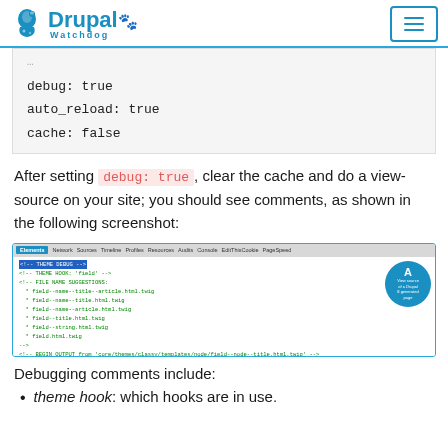Drupal Watchdog
debug: true
auto_reload: true
cache: false
After setting debug: true, clear the cache and do a view-source on your site; you should see comments, as shown in the following screenshot:
[Figure (screenshot): Browser DevTools screenshot showing THEME DEBUG comments in HTML source, with view source of a Drupal 8 generated page annotation]
Debugging comments include:
theme hook: which hooks are in use.